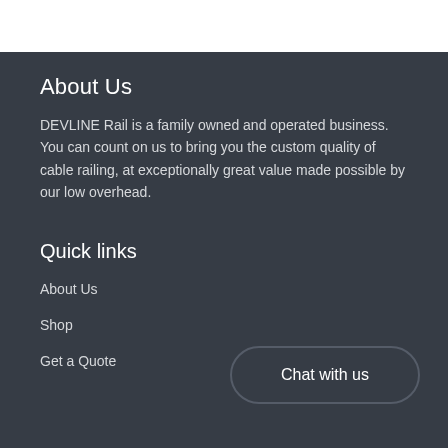About Us
DEVLINE Rail is a family owned and operated business. You can count on us to bring you the custom quality of cable railing, at exceptionally great value made possible by our low overhead.
Quick links
About Us
Shop
Get a Quote
Chat with us